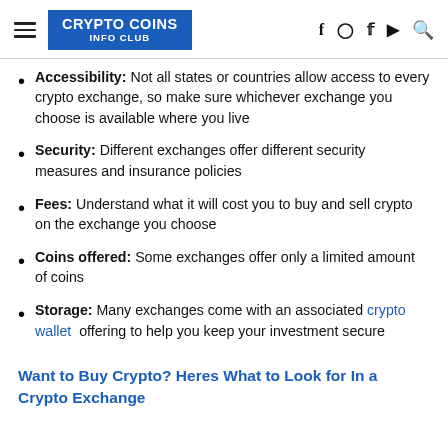CRYPTO COINS INFO CLUB
Accessibility: Not all states or countries allow access to every crypto exchange, so make sure whichever exchange you choose is available where you live
Security: Different exchanges offer different security measures and insurance policies
Fees: Understand what it will cost you to buy and sell crypto on the exchange you choose
Coins offered: Some exchanges offer only a limited amount of coins
Storage: Many exchanges come with an associated crypto wallet offering to help you keep your investment secure
Want to Buy Crypto? Heres What to Look for In a Crypto Exchange